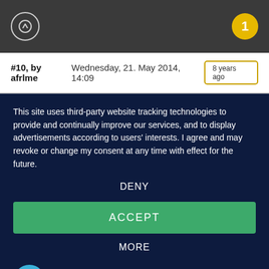↑  1
#10, by afrlme  Wednesday, 21. May 2014, 14:09  8 years ago
This site uses third-party website tracking technologies to provide and continually improve our services, and to display advertisements according to users' interests. I agree and may revoke or change my consent at any time with effect for the future.
DENY
ACCEPT
MORE
Powered by usercentrics